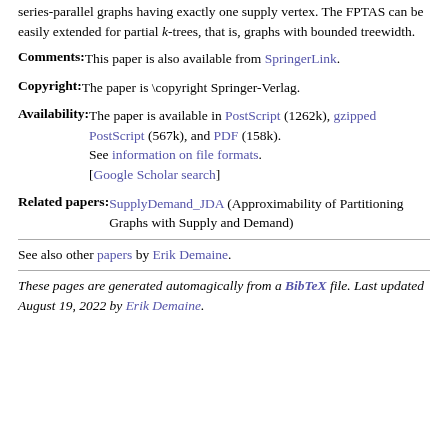series-parallel graphs having exactly one supply vertex. The FPTAS can be easily extended for partial k-trees, that is, graphs with bounded treewidth.
Comments: This paper is also available from SpringerLink.
Copyright: The paper is \copyright Springer-Verlag.
Availability: The paper is available in PostScript (1262k), gzipped PostScript (567k), and PDF (158k). See information on file formats. [Google Scholar search]
Related papers: SupplyDemand_JDA (Approximability of Partitioning Graphs with Supply and Demand)
See also other papers by Erik Demaine.
These pages are generated automagically from a BibTeX file. Last updated August 19, 2022 by Erik Demaine.